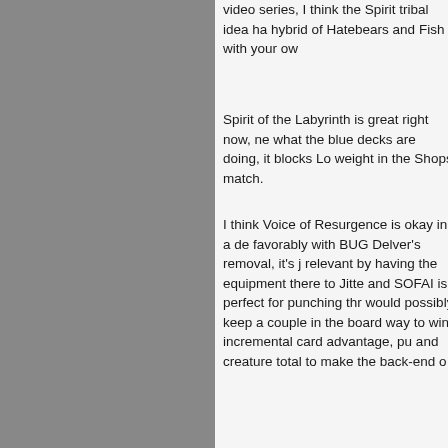video series, I think the Spirit tribal idea ha hybrid of Hatebears and Fish with your ow
Spirit of the Labyrinth is great right now, ne what the blue decks are doing, it blocks Lo weight in the Shops match.
I think Voice of Resurgence is okay in a de favorably with BUG Delver's removal, it's j relevant by having the equipment there to Jitte and SOFAI is perfect for punching thr would possibly keep a couple in the board way to win incremental card advantage, pu and creature total to make the back-end o
Here's the thing about Batterskull — it mal absolutely killer against Shops, almost reg hand. In my videos a month back playing s deck, I won game 1 against Shops just by Batterskull. Batterskull also works through Shops player might be using, and allows y